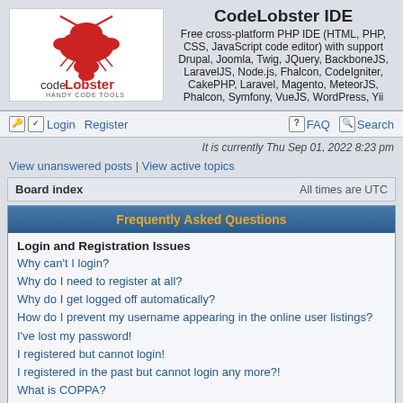[Figure (logo): CodeLobster IDE logo with a red lobster graphic and text 'codeLobster HANDY CODE TOOLS']
CodeLobster IDE
Free cross-platform PHP IDE (HTML, PHP, CSS, JavaScript code editor) with support Drupal, Joomla, Twig, JQuery, BackboneJS, LaravelJS, Node.js, Fhalcon, CodeIgniter, CakePHP, Laravel, Magento, MeteorJS, Phalcon, Symfony, VueJS, WordPress, Yii
Login | Register | FAQ | Search
It is currently Thu Sep 01, 2022 8:23 pm
View unanswered posts | View active topics
Board index		All times are UTC
Frequently Asked Questions
Login and Registration Issues
Why can't I login?
Why do I need to register at all?
Why do I get logged off automatically?
How do I prevent my username appearing in the online user listings?
I've lost my password!
I registered but cannot login!
I registered in the past but cannot login any more?!
What is COPPA?
Why can't I register?
What does the “Delete all board cookies” do?